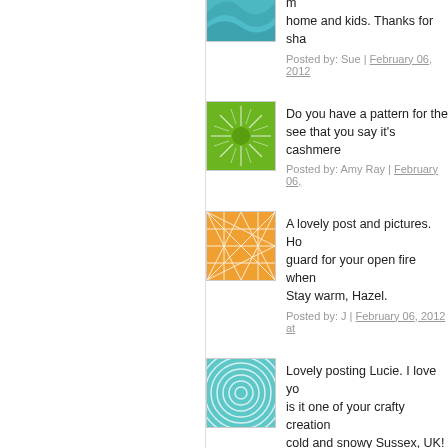getting in the way. I have to m home and kids. Thanks for sha
Posted by: Sue | February 06, 2012
[Figure (illustration): Green sunburst avatar icon]
Do you have a pattern for the see that you say it's cashmere
Posted by: Amy Ray | February 06,
[Figure (illustration): Orange geometric web pattern avatar icon]
A lovely post and pictures. Ho guard for your open fire when Stay warm, Hazel.
Posted by: J | February 06, 2012 at
[Figure (illustration): Teal circular wave pattern avatar icon]
Lovely posting Lucie. I love yo is it one of your crafty creation cold and snowy Sussex, UK!
Posted by: sue | February 06, 2012
[Figure (illustration): Blue horizontal waves avatar icon]
Just delightful! loved reading t
Posted by: Bonnie | February 06,